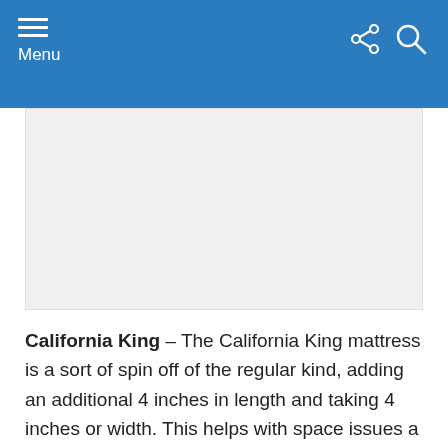Menu
[Figure (other): Advertisement banner placeholder (gray box)]
California King – The California King mattress is a sort of spin off of the regular kind, adding an additional 4 inches in length and taking 4 inches or width. This helps with space issues a regular king sized mattress may come across as well as is beneficial to any taller individuals.
This is often used in oversized bedrooms and rooms where the couple sleeping in the bed plan to have a small child or animal joining them, making space for